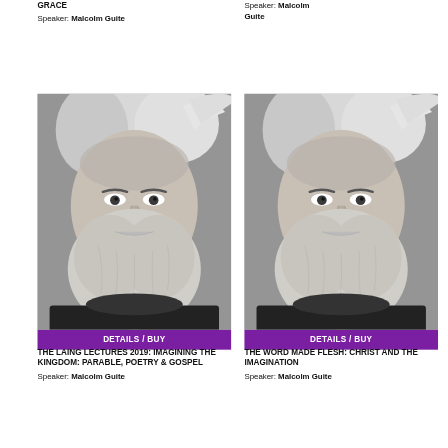GRACE
Speaker: Malcolm Guite
Speaker: Malcolm Guite
[Figure (photo): Black and white portrait photo of Malcolm Guite, a bearded man with wild grey hair]
DETAILS / BUY
[Figure (photo): Black and white portrait photo of Malcolm Guite, a bearded man with wild grey hair]
DETAILS / BUY
THE LAING LECTURES 2019: IMAGINING THE KINGDOM: PARABLE, POETRY & GOSPEL
Speaker: Malcolm Guite
THE WORD MADE FLESH: CHRIST AND THE IMAGINATION
Speaker: Malcolm Guite